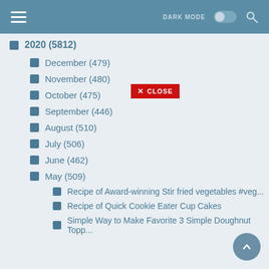DARK MODE [toggle] [search]
2020 (5812)
December (479)
November (480)
October (475)
September (446)
August (510)
July (506)
June (462)
May (509)
Recipe of Award-winning Stir fried vegetables #veg...
Recipe of Quick Cookie Eater Cup Cakes
Simple Way to Make Favorite 3 Simple Doughnut Topp...